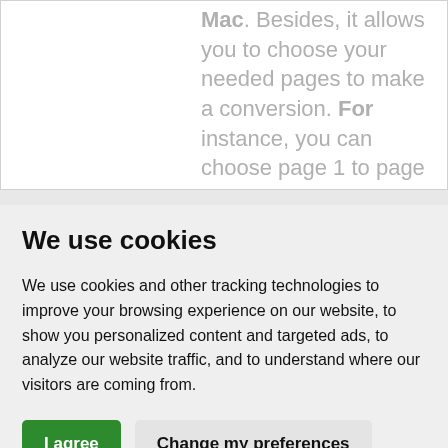Mac. Besides, it allows you to choose your needed pages to make a conversion. For instance, you can choose page 1 to page ... enables you to make bundles conversion from PDF fi...
We use cookies
We use cookies and other tracking technologies to improve your browsing experience on our website, to show you personalized content and targeted ads, to analyze our website traffic, and to understand where our visitors are coming from.